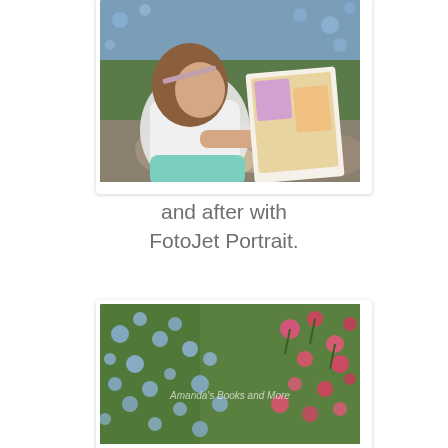[Figure (photo): A young girl with long brown hair sitting outdoors among rocks and blue flowers, reading an illustrated book/comic showing colorful cartoon characters.]
and after with FotoJet Portrait.
[Figure (photo): A garden scene with blue and pink/red flowers, with watermark text reading 'Amanda's Books and More'.]